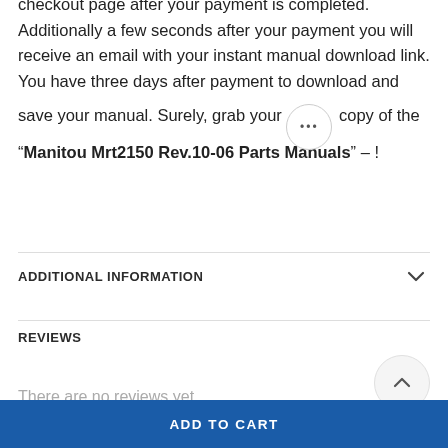checkout page after your payment is completed. Additionally a few seconds after your payment you will receive an email with your instant manual download link. You have three days after payment to download and save your manual. Surely, grab your ••• copy of the “Manitou Mrt2150 Rev.10-06 Parts Manuals” – !
ADDITIONAL INFORMATION
REVIEWS
There are no reviews yet.
ADD TO CART